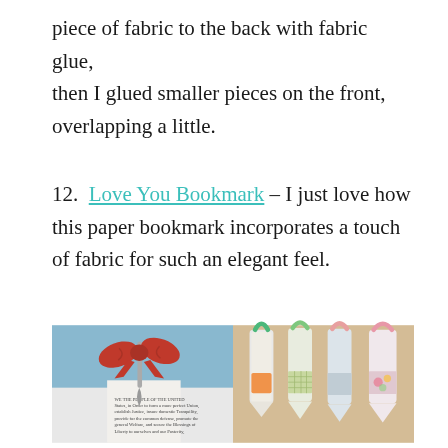piece of fabric to the back with fabric glue, then I glued smaller pieces on the front, overlapping a little.
12.  Love You Bookmark – I just love how this paper bookmark incorporates a touch of fabric for such an elegant feel.
[Figure (photo): Two side-by-side photos of bookmarks. Left: a paper bookmark with a red fabric bow clip on a white book with text visible. Right: four fabric bookmarks with decorative patterned fabric patches and loop tops, on a tan background.]